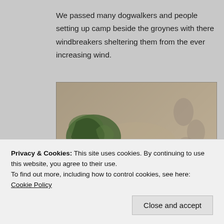We passed many dogwalkers and people setting up camp beside the groynes with there windbreakers sheltering them from the ever increasing wind.
[Figure (photo): Aerial close-up photograph of sandy beach with seaweed, footprints in sand, a cuttlebone, and green algae. Watermark reads 'Karen Anderson' in bottom right corner.]
Privacy & Cookies: This site uses cookies. By continuing to use this website, you agree to their use.
To find out more, including how to control cookies, see here: Cookie Policy